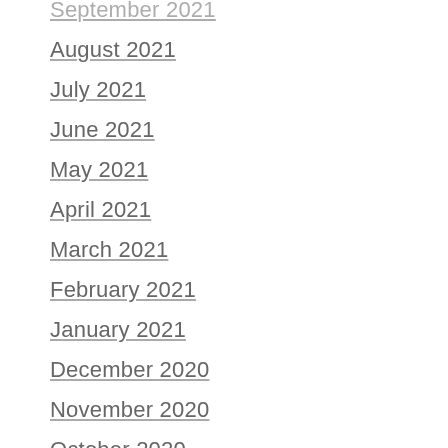September 2021 (partial/clipped)
August 2021
July 2021
June 2021
May 2021
April 2021
March 2021
February 2021
January 2021
December 2020
November 2020
October 2020
September 2020
August 2020 (partial/clipped)